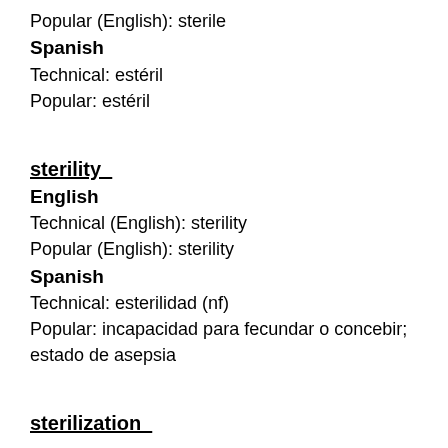Popular (English): sterile
Spanish
Technical: estéril
Popular: estéril
sterility
English
Technical (English): sterility
Popular (English): sterility
Spanish
Technical: esterilidad (nf)
Popular: incapacidad para fecundar o concebir; estado de asepsia
sterilization